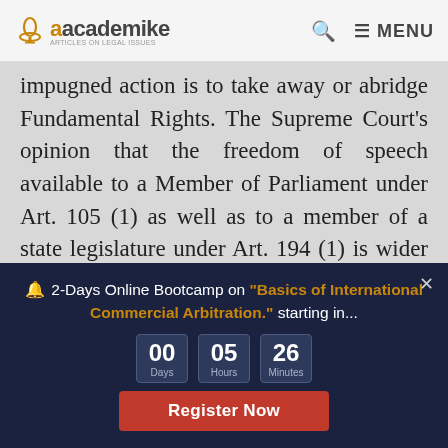academike — navigation bar with logo, search, and menu
impugned action is to take away or abridge Fundamental Rights. The Supreme Court's opinion that the freedom of speech available to a Member of Parliament under Art. 105 (1) as well as to a member of a state legislature under Art. 194 (1) is wider in amplitude than the right to freedom of speech and expression guaranteed under Art. 19 (1) (a) in P. V. Narasimha Rao v. State[x]. State of Uttar Pradesh v. Raj Narain[xi], is the case in which the court underlined the significance of the right to know in a
🔔 2-Days Online Bootcamp on "Basics of International Commercial Arbitration." starting in... 00 Days 05 Hours 26 Minutes Register Now ×